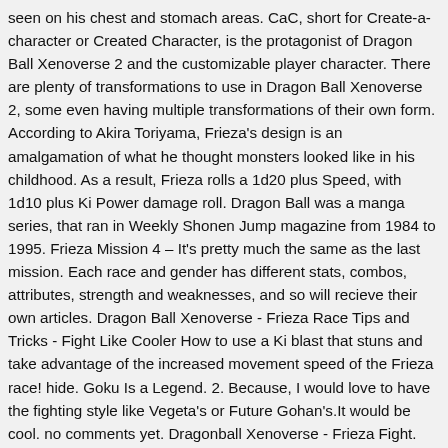seen on his chest and stomach areas. CaC, short for Create-a-character or Created Character, is the protagonist of Dragon Ball Xenoverse 2 and the customizable player character. There are plenty of transformations to use in Dragon Ball Xenoverse 2, some even having multiple transformations of their own form. According to Akira Toriyama, Frieza's design is an amalgamation of what he thought monsters looked like in his childhood. As a result, Frieza rolls a 1d20 plus Speed, with 1d10 plus Ki Power damage roll. Dragon Ball was a manga series, that ran in Weekly Shonen Jump magazine from 1984 to 1995. Frieza Mission 4 – It's pretty much the same as the last mission. Each race and gender has different stats, combos, attributes, strength and weaknesses, and so will recieve their own articles. Dragon Ball Xenoverse - Frieza Race Tips and Tricks - Fight Like Cooler How to use a Ki blast that stuns and take advantage of the increased movement speed of the Frieza race! hide. Goku Is a Legend. 2. Because, I would love to have the fighting style like Vegeta's or Future Gohan's.It would be cool. no comments yet. Dragonball Xenoverse - Frieza Fight. (One of the most hardcore